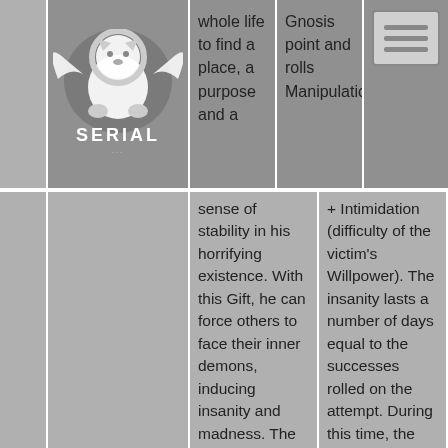[Figure (logo): SERIAL logo with lion/eagle crest graphic and text 'SERIAL' below]
whole life to find a place, a purpose and a sense of stability in his horrifying existence. With this Gift, he can force others to face their inner demons, inducing insanity and madness. The nature of the derangement varies among individuals, but it will always be severe, making
Gnosis point and rolls Manipulation + Intimidation (difficulty of the victim's Willpower). The insanity lasts a number of days equal to the successes rolled on the attempt. During this time, the metis can increase or decrease the